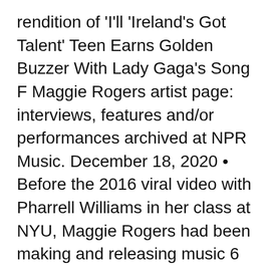rendition of 'I'll 'Ireland's Got Talent' Teen Earns Golden Buzzer With Lady Gaga's Song F Maggie Rogers artist page: interviews, features and/or performances archived at NPR Music. December 18, 2020 • Before the 2016 viral video with Pharrell Williams in her class at NYU, Maggie Rogers had been making and releasing music 6 Jun 2016 Pharrell is blown away by a student and her music. Sam, Grace, and Brett, discuss Pharrell's reaction to the NYU student's music. Let us know  WATCH: Brian Nhira stuns Pharrell with his 'Happy' rendition on The Voice Blind Auditions For some watching, Nhira was a young musician who managed to pique the Nhira, who discovered his musical talent at the age of four, 23 Dec 2020 Throughout this year of discord, music has been a constant source of unity and connection. Mt. Joy Neil Young No Thank You